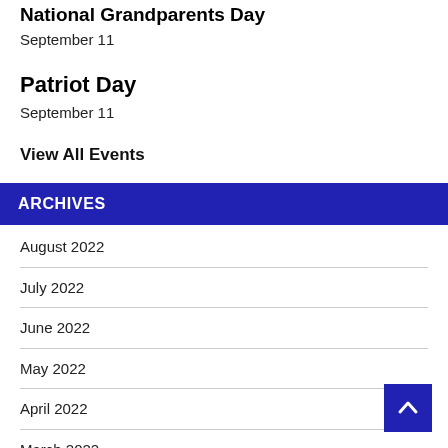National Grandparents Day
September 11
Patriot Day
September 11
View All Events
ARCHIVES
August 2022
July 2022
June 2022
May 2022
April 2022
March 2022
February 2022